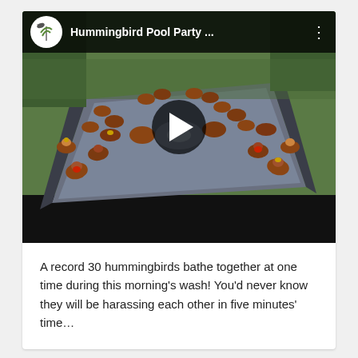[Figure (screenshot): YouTube-style video thumbnail showing many hummingbirds bathing in a bird bath, with a video player header showing 'Hummingbird Pool Party ...' and a play button overlay.]
A record 30 hummingbirds bathe together at one time during this morning's wash! You'd never know they will be harassing each other in five minutes' time…